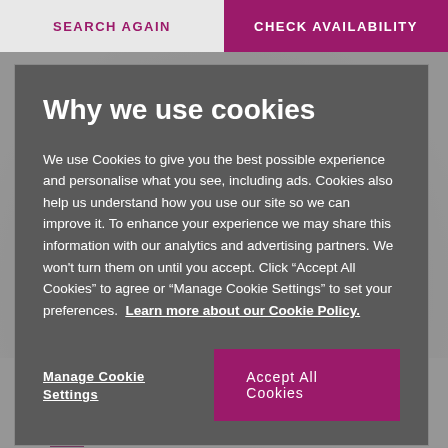SEARCH AGAIN | CHECK AVAILABILITY
Why we use cookies
We use Cookies to give you the best possible experience and personalise what you see, including ads. Cookies also help us understand how you use our site so we can improve it. To enhance your experience we may share this information with our analytics and advertising partners. We won't turn them on until you accept. Click “Accept All Cookies” to agree or “Manage Cookie Settings” to set your preferences.  Learn more about our Cookie Policy.
Manage Cookie Settings
Accept All Cookies
CONTACT DETAILS
+44 (1573) 450278